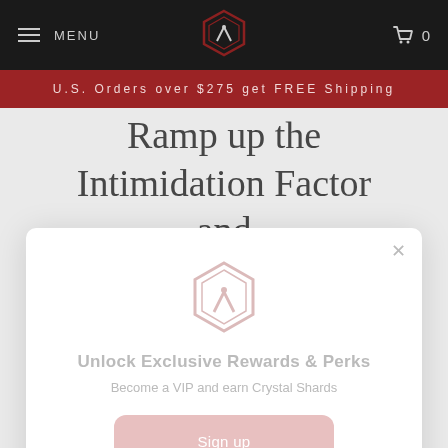MENU | [logo] | 0
U.S. Orders over $275 get FREE Shipping
Ramp up the Intimidation Factor and
[Figure (screenshot): Loyalty/VIP popup modal with logo, title 'Unlock Exclusive Rewards & Perks', subtitle 'Become a VIP and earn Crystal Shards', a Sign up button, and 'Already have an account? Sign in' link]
Covers. Throw in some Troop